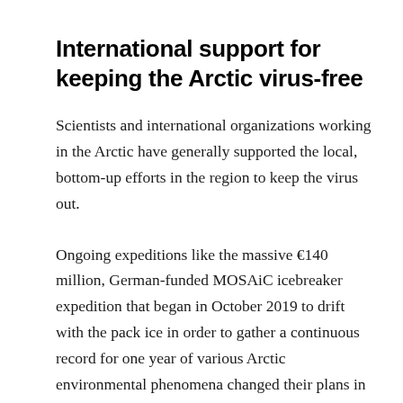International support for keeping the Arctic virus-free
Scientists and international organizations working in the Arctic have generally supported the local, bottom-up efforts in the region to keep the virus out.
Ongoing expeditions like the massive €140 million, German-funded MOSAiC icebreaker expedition that began in October 2019 to drift with the pack ice in order to gather a continuous record for one year of various Arctic environmental phenomena changed their plans in order to